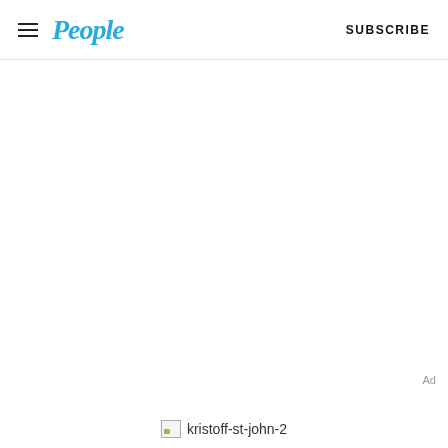People  SUBSCRIBE
Ad
[Figure (photo): Broken image placeholder labeled kristoff-st-john-2]